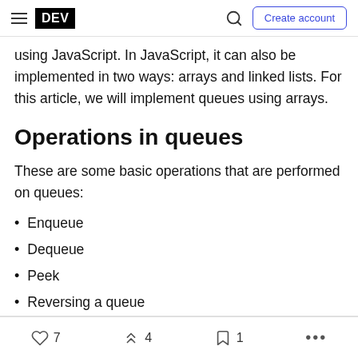DEV | Create account
using JavaScript. In JavaScript, it can also be implemented in two ways: arrays and linked lists. For this article, we will implement queues using arrays.
Operations in queues
These are some basic operations that are performed on queues:
Enqueue
Dequeue
Peek
Reversing a queue
7  4  1  ...